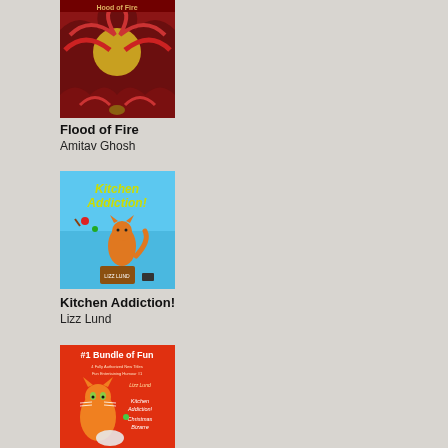[Figure (illustration): Book cover for Flood of Fire by Amitav Ghosh - red ornate cover with gold sun/moon circle and decorative elements, title text at top]
Flood of Fire
Amitav Ghosh
[Figure (illustration): Book cover for Kitchen Addiction! by Lizz Lund - blue sky background with an orange cat, vegetables, and yellow Kitchen Addiction! text]
Kitchen Addiction!
Lizz Lund
[Figure (illustration): Book cover for #1 Bundle of Fun - red/orange background with an orange cat, contains Kitchen Addiction! and Christmas Bizarre text]